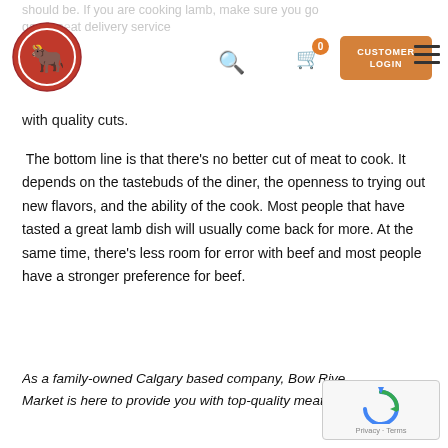should be. If you are cooking lamb, make sure you go good meat delivery service le you with quality cuts.
with quality cuts.
The bottom line is that there’s no better cut of meat to cook. It depends on the tastebuds of the diner, the openness to trying out new flavors, and the ability of the cook. Most people that have tasted a great lamb dish will usually come back for more. At the same time, there’s less room for error with beef and most people have a stronger preference for beef.
As a family-owned Calgary based company, Bow River Market is here to provide you with top-quality meats for all